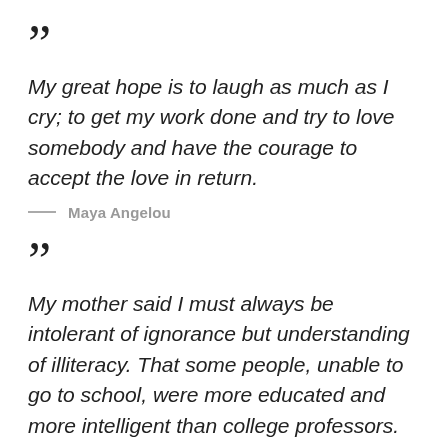“My great hope is to laugh as much as I cry; to get my work done and try to love somebody and have the courage to accept the love in return.
— Maya Angelou
“My mother said I must always be intolerant of ignorance but understanding of illiteracy. That some people, unable to go to school, were more educated and more intelligent than college professors.